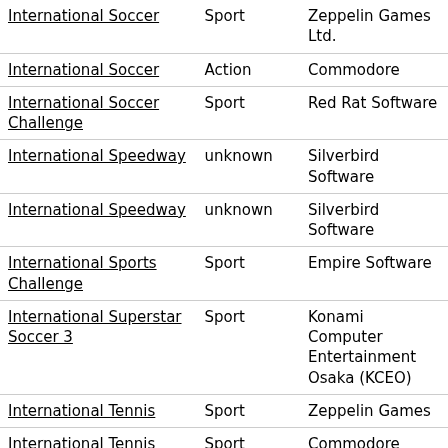| International Soccer | Sport | Zeppelin Games Ltd. |
| International Soccer | Action | Commodore |
| International Soccer Challenge | Sport | Red Rat Software |
| International Speedway | unknown | Silverbird Software |
| International Speedway | unknown | Silverbird Software |
| International Sports Challenge | Sport | Empire Software |
| International Superstar Soccer 3 | Sport | Konami Computer Entertainment Osaka (KCEO) |
| International Tennis | Sport | Zeppelin Games |
| International Tennis | Sport | Commodore Business Machines Inc |
| International Tennis... | unknown | ... |